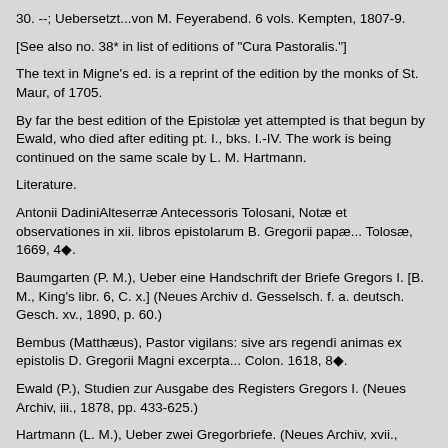30. --; Uebersetzt...von M. Feyerabend. 6 vols. Kempten, 1807-9.
[See also no. 38* in list of editions of "Cura Pastoralis."]
The text in Migne's ed. is a reprint of the edition by the monks of St. Maur, of 1705.
By far the best edition of the Epistolæ yet attempted is that begun by Ewald, who died after editing pt. I., bks. I.-IV. The work is being continued on the same scale by L. M. Hartmann.
Literature.
Antonii DadiniAlteserræ Antecessoris Tolosani, Notæ et observationes in xii. libros epistolarum B. Gregorii papæ... Tolosæ, 1669, 4◆.
Baumgarten (P. M.), Ueber eine Handschrift der Briefe Gregors I. [B. M., King's libr. 6, C. x.] (Neues Archiv d. Gesselsch. f. a. deutsch. Gesch. xv., 1890, p. 60.)
Bembus (Matthæus), Pastor vigilans: sive ars regendi animas ex epistolis D. Gregorii Magni excerpta... Colon. 1618, 8◆.
Ewald (P.), Studien zur Ausgabe des Registers Gregors I. (Neues Archiv, iii., 1878, pp. 433-625.)
Hartmann (L. M.), Ueber zwei Gregorbriefe. (Neues Archiv, xvii., 1893, p. 123.)